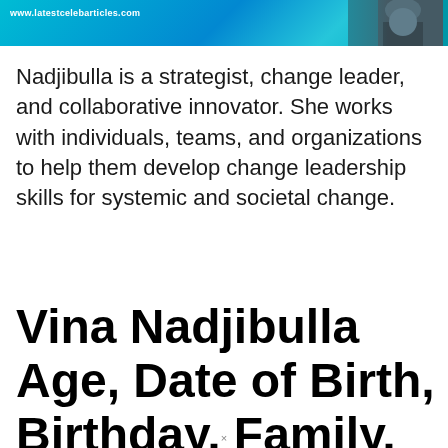[Figure (photo): Website banner header showing www.latestcelebarticles.com URL on a teal/cyan gradient background, with a dark photo of a person on the right side]
Nadjibulla is a strategist, change leader, and collaborative innovator. She works with individuals, teams, and organizations to help them develop change leadership skills for systemic and societal change.
Vina Nadjibulla Age, Date of Birth, Birthday, Family, What about her
×